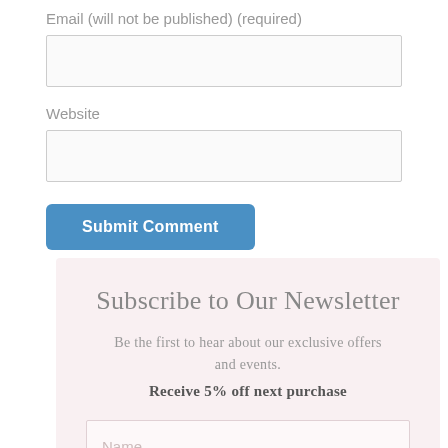Email (will not be published) (required)
[Figure (other): Text input field for email]
Website
[Figure (other): Text input field for website]
Submit Comment
Subscribe to Our Newsletter
Be the first to hear about our exclusive offers and events.
Receive 5% off next purchase
[Figure (other): Text input field for Name with placeholder text 'Name']